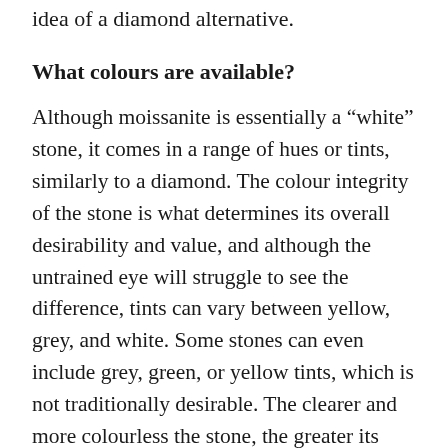idea of a diamond alternative.
What colours are available?
Although moissanite is essentially a “white” stone, it comes in a range of hues or tints, similarly to a diamond. The colour integrity of the stone is what determines its overall desirability and value, and although the untrained eye will struggle to see the difference, tints can vary between yellow, grey, and white. Some stones can even include grey, green, or yellow tints, which is not traditionally desirable. The clearer and more colourless the stone, the greater its value and desirability. Unfortunately, as the value goes up, so does the cost of the stone.